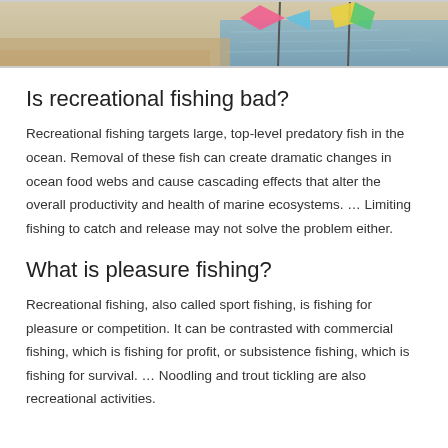[Figure (photo): Partial photo of a beach/waterfront scene with colorful kites or flags, sandy shore and water visible]
Is recreational fishing bad?
Recreational fishing targets large, top-level predatory fish in the ocean. Removal of these fish can create dramatic changes in ocean food webs and cause cascading effects that alter the overall productivity and health of marine ecosystems. … Limiting fishing to catch and release may not solve the problem either.
What is pleasure fishing?
Recreational fishing, also called sport fishing, is fishing for pleasure or competition. It can be contrasted with commercial fishing, which is fishing for profit, or subsistence fishing, which is fishing for survival. … Noodling and trout tickling are also recreational activities.